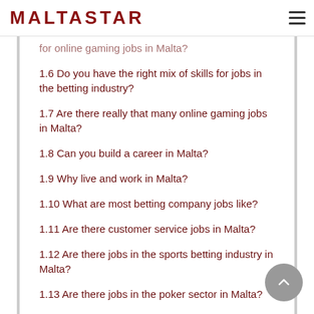MALTASTAR
for online gaming jobs in Malta?
1.6 Do you have the right mix of skills for jobs in the betting industry?
1.7 Are there really that many online gaming jobs in Malta?
1.8 Can you build a career in Malta?
1.9 Why live and work in Malta?
1.10 What are most betting company jobs like?
1.11 Are there customer service jobs in Malta?
1.12 Are there jobs in the sports betting industry in Malta?
1.13 Are there jobs in the poker sector in Malta?